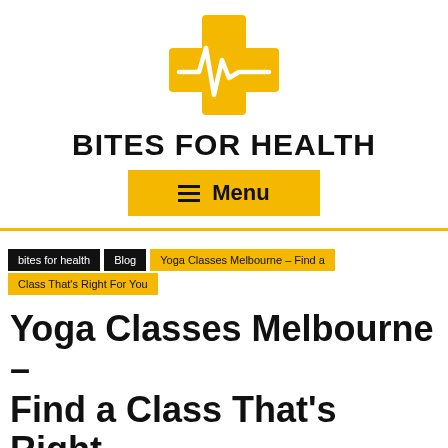[Figure (logo): Bites for Health logo: golden medical cross with heartbeat/ECG line through it]
BITES FOR HEALTH
≡  Menu
bites for health  Blog  Yoga Classes Melbourne – Find a Class That's Right For You
Yoga Classes Melbourne – Find a Class That's Right For You